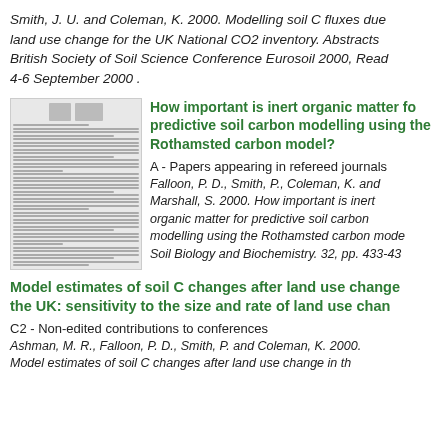Smith, J. U. and Coleman, K. 2000. Modelling soil C fluxes due to land use change for the UK National CO2 inventory. Abstracts British Society of Soil Science Conference Eurosoil 2000, Reading, 4-6 September 2000 .
[Figure (illustration): Thumbnail image of a scientific journal article page]
How important is inert organic matter for predictive soil carbon modelling using the Rothamsted carbon model?
A - Papers appearing in refereed journals
Falloon, P. D., Smith, P., Coleman, K. and Marshall, S. 2000. How important is inert organic matter for predictive soil carbon modelling using the Rothamsted carbon model? Soil Biology and Biochemistry. 32, pp. 433-430
Model estimates of soil C changes after land use change in the UK: sensitivity to the size and rate of land use change
C2 - Non-edited contributions to conferences
Ashman, M. R., Falloon, P. D., Smith, P. and Coleman, K. 2000. Model estimates of soil C changes after land use change in the